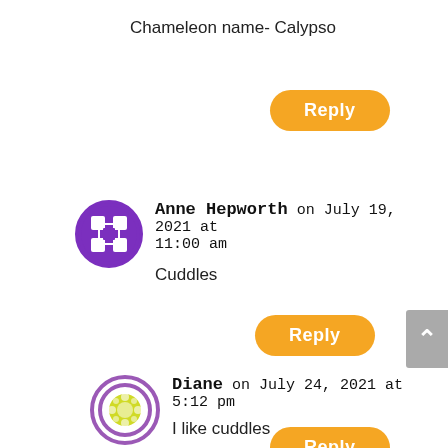Chameleon name- Calypso
[Figure (other): Orange rounded Reply button]
[Figure (other): Purple avatar icon for Anne Hepworth]
Anne Hepworth on July 19, 2021 at 11:00 am
Cuddles
[Figure (other): Orange rounded Reply button]
[Figure (other): Yellow/green avatar icon for Diane]
Diane on July 24, 2021 at 5:12 pm
I like cuddles
[Figure (other): Orange rounded Reply button (partially visible)]